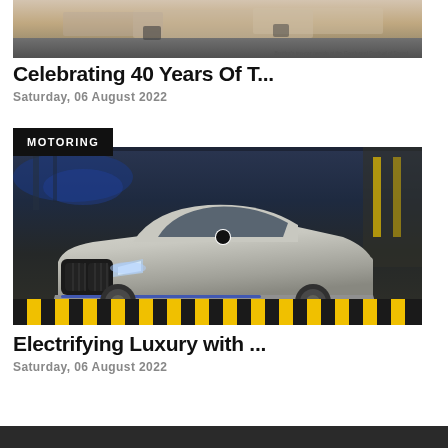[Figure (photo): Top portion of Bentley car parade at Goodwood Festival of Speed, showing vehicles on a track with reddish-brown terrain in the background]
Bentley's ten-car parade at the Goodwood Festival of Speed
Celebrating 40 Years Of T...
Saturday, 06 August 2022
MOTORING
[Figure (photo): Silver BMW i7 luxury electric sedan in a factory/showroom setting with yellow and black striped floor markings, blue industrial lighting in background]
Electrifying Luxury with ...
Saturday, 06 August 2022